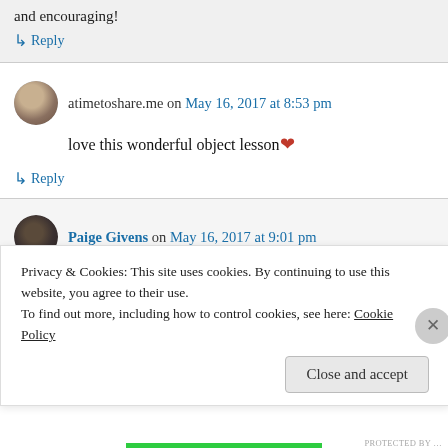and encouraging!
↳ Reply
atimetoshare.me on May 16, 2017 at 8:53 pm
love this wonderful object lesson ❤
↳ Reply
Paige Givens on May 16, 2017 at 9:01 pm
Privacy & Cookies: This site uses cookies. By continuing to use this website, you agree to their use. To find out more, including how to control cookies, see here: Cookie Policy
Close and accept